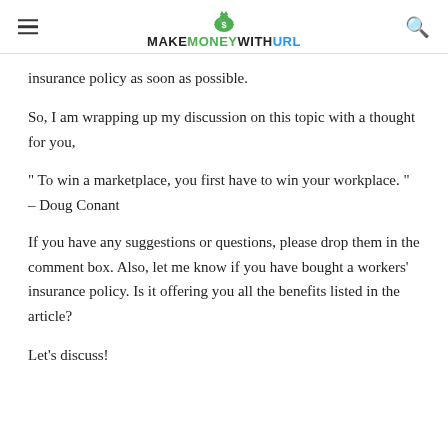MAKEMONEYWITHURL
insurance policy as soon as possible.
So, I am wrapping up my discussion on this topic with a thought for you,
" To win a marketplace, you first have to win your workplace. " – Doug Conant
If you have any suggestions or questions, please drop them in the comment box. Also, let me know if you have bought a workers' insurance policy. Is it offering you all the benefits listed in the article?
Let's discuss!